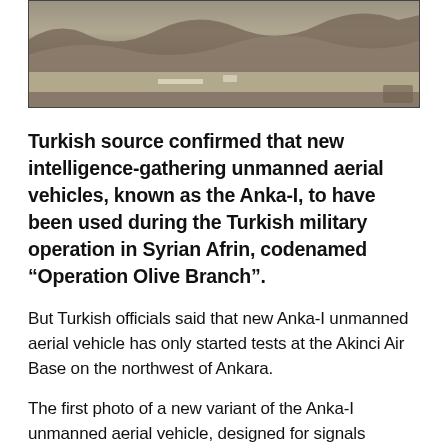[Figure (photo): Aerial photograph showing a barren, hilly landscape with a road running horizontally through the scene. The terrain appears dry and brown/grey.]
Turkish source confirmed that new intelligence-gathering unmanned aerial vehicles, known as the Anka-I, to have been used during the Turkish military operation in Syrian Afrin, codenamed “Operation Olive Branch”.
But Turkish officials said that new Anka-I unmanned aerial vehicle has only started tests at the Akinci Air Base on the northwest of Ankara.
The first photo of a new variant of the Anka-I unmanned aerial vehicle, designed for signals intelligence (SIGINT) and communications intelligence (COMINT) missions, was posted on